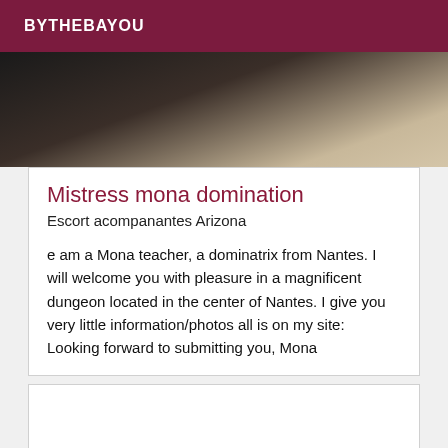BYTHEBAYOU
[Figure (photo): Dark background photo, partially visible figure]
Mistress mona domination
Escort acompanantes Arizona
e am a Mona teacher, a dominatrix from Nantes. I will welcome you with pleasure in a magnificent dungeon located in the center of Nantes. I give you very little information/photos all is on my site: Looking forward to submitting you, Mona